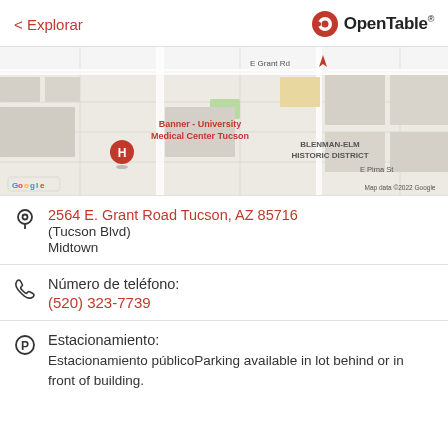< Explorar  OpenTable
[Figure (map): Google Maps showing Banner - University Medical Center Tucson area, Blenman-Elm Historic District, E Grant Rd, E Pima St, Map data ©2022 Google]
2564 E. Grant Road Tucson, AZ 85716
(Tucson Blvd)
Midtown
Número de teléfono:
(520) 323-7739
Estacionamiento:
Estacionamiento públicoParking available in lot behind or in front of building.